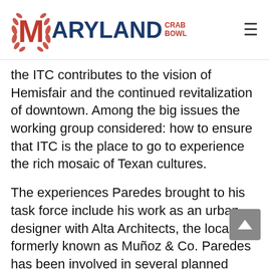MARYLAND CRAB BOWL
the ITC contributes to the vision of Hemisfair and the continued revitalization of downtown. Among the big issues the working group considered: how to ensure that ITC is the place to go to experience the rich mosaic of Texan cultures.
The experiences Paredes brought to his task force include his work as an urban designer with Alta Architects, the local firm formerly known as Muñoz & Co. Paredes has been involved in several planned projects, including the San Pedro Creek Cultural Park.
This multi-year, multi-million dollar project will ultimately span 2.2 miles through